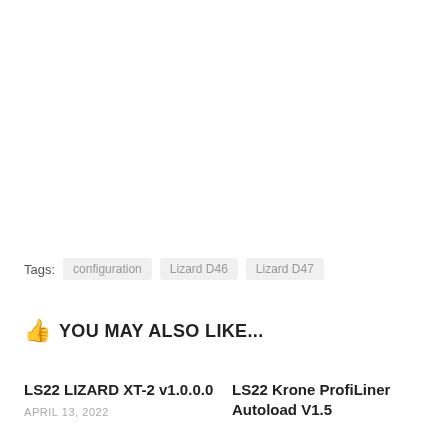Tags: configuration  Lizard D46  Lizard D47
👍 YOU MAY ALSO LIKE...
LS22 LIZARD XT-2 v1.0.0.0
APRIL 13, 2022
LS22 Krone ProfiLiner Autoload V1.5